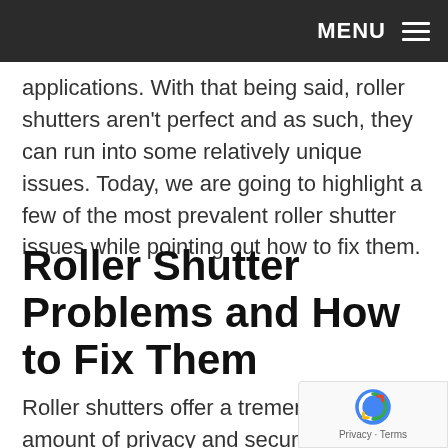MENU ≡
applications. With that being said, roller shutters aren't perfect and as such, they can run into some relatively unique issues. Today, we are going to highlight a few of the most prevalent roller shutter issues while pointing out how to fix them.
Roller Shutter Problems and How to Fix Them
Roller shutters offer a tremendous amount of privacy and security. However, when your roller shutters run into issues it can be twic…